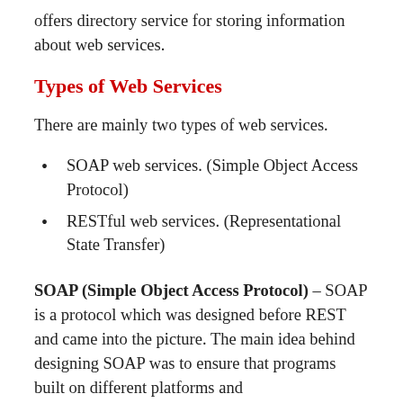offers directory service for storing information about web services.
Types of Web Services
There are mainly two types of web services.
SOAP web services. (Simple Object Access Protocol)
RESTful web services. (Representational State Transfer)
SOAP (Simple Object Access Protocol) – SOAP is a protocol which was designed before REST and came into the picture. The main idea behind designing SOAP was to ensure that programs built on different platforms and